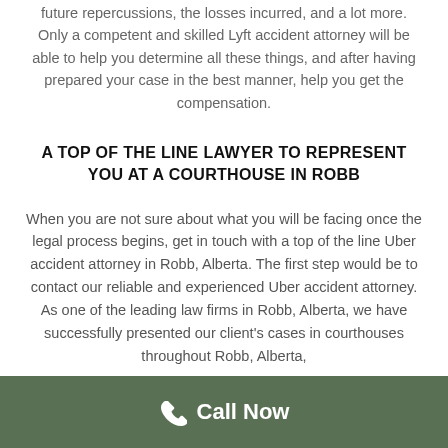future repercussions, the losses incurred, and a lot more. Only a competent and skilled Lyft accident attorney will be able to help you determine all these things, and after having prepared your case in the best manner, help you get the compensation.
A TOP OF THE LINE LAWYER TO REPRESENT YOU AT A COURTHOUSE IN ROBB
When you are not sure about what you will be facing once the legal process begins, get in touch with a top of the line Uber accident attorney in Robb, Alberta. The first step would be to contact our reliable and experienced Uber accident attorney. As one of the leading law firms in Robb, Alberta, we have successfully presented our client's cases in courthouses throughout Robb, Alberta,